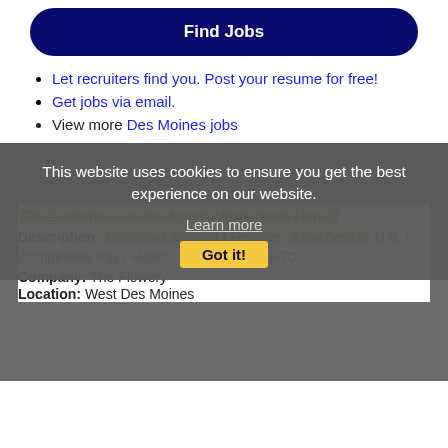[Figure (screenshot): Dark navy blue 'Find Jobs' button with rounded corners]
Let recruiters find you. Post your resume for free!
Get jobs via email.
View more Des Moines jobs
This website uses cookies to ensure you get the best experience on our website.
Learn more
Got it!
Other Jobs
FT: Customer Service Agent (Work From Home)
Description: Customer Support / Remote - Anywhere in U.S. / Competitive Pay / Health, dental vision / PTO
Company: The Flowery
Location: West Des Moines